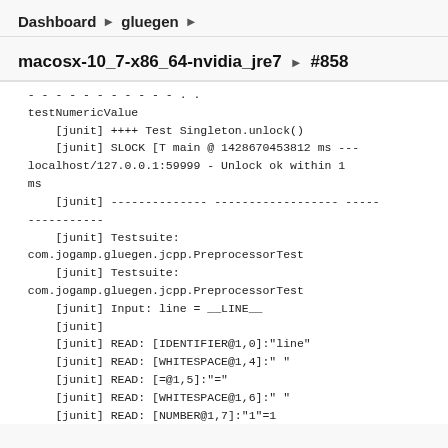Dashboard ▶ gluegen ▶
macosx-10_7-x86_64-nvidia_jre7 ▶ #858
testNumericValue
    [junit] ++++ Test Singleton.unlock()
    [junit] SLOCK [T main @ 1428670453812 ms ---localhost/127.0.0.1:59999 - Unlock ok within 1 ms
    [junit] -------------- ------------------ ---- -----------
    [junit] Testsuite: com.jogamp.gluegen.jcpp.PreprocessorTest
    [junit] Testsuite: com.jogamp.gluegen.jcpp.PreprocessorTest
    [junit] Input: line = __LINE__
    [junit]
    [junit] READ: [IDENTIFIER@1,0]:"line"
    [junit] READ: [WHITESPACE@1,4]:" "
    [junit] READ: [=@1,5]:"="
    [junit] READ: [WHITESPACE@1,6]:" "
    [junit] READ: [NUMBER@1,7]:"1"=1